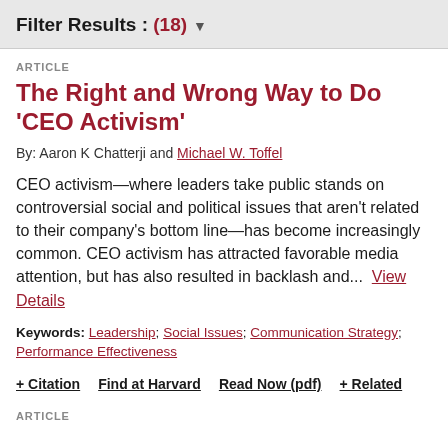Filter Results : (18) ▾
ARTICLE
The Right and Wrong Way to Do 'CEO Activism'
By: Aaron K Chatterji and Michael W. Toffel
CEO activism—where leaders take public stands on controversial social and political issues that aren't related to their company's bottom line—has become increasingly common. CEO activism has attracted favorable media attention, but has also resulted in backlash and...
Keywords: Leadership; Social Issues; Communication Strategy; Performance Effectiveness
+ Citation   Find at Harvard   Read Now (pdf)   + Related
ARTICLE